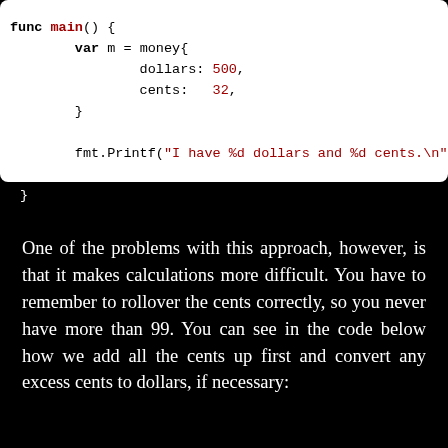[Figure (screenshot): Code block showing Go language main function with a money struct literal initialized with dollars: 500 and cents: 32, followed by a fmt.Printf call]
One of the problems with this approach, however, is that it makes calculations more difficult. You have to remember to rollover the cents correctly, so you never have more than 99. You can see in the code below how we add all the cents up first and convert any excess cents to dollars, if necessary: